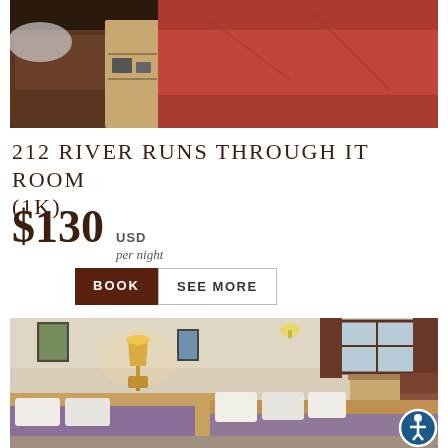[Figure (photo): Hotel room photo showing a red-covered bed with wooden nightstand and dark upholstered chair on the left]
212 RIVER RUNS THROUGH IT ROOM (1K)
$130 USD per night
BOOK  SEE MORE
[Figure (photo): Hotel room interior showing two beds with purple/mauve covers and white pillows, lamps, framed artwork, and a window with dark curtains on the right]